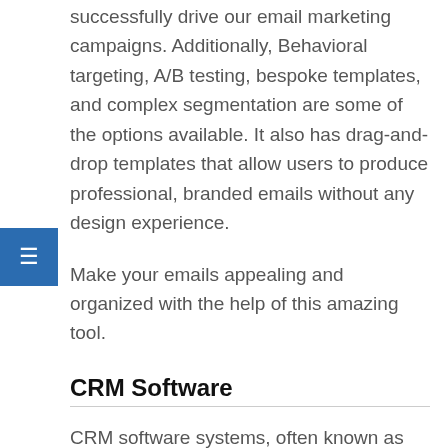successfully drive our email marketing campaigns. Additionally, Behavioral targeting, A/B testing, bespoke templates, and complex segmentation are some of the options available. It also has drag-and-drop templates that allow users to produce professional, branded emails without any design experience.
Make your emails appealing and organized with the help of this amazing tool.
CRM Software
CRM software systems, often known as customer relationship management systems, are critical tools for building your small business.
They are vital for any business owner whether it's